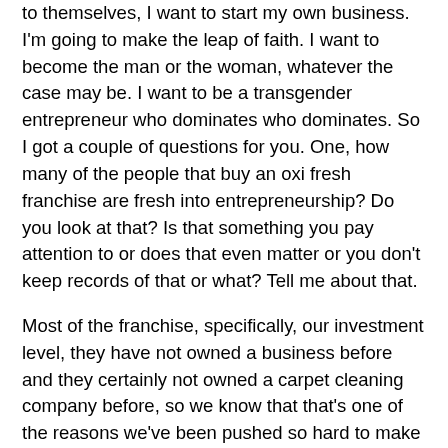to themselves, I want to start my own business. I'm going to make the leap of faith. I want to become the man or the woman, whatever the case may be. I want to be a transgender entrepreneur who dominates who dominates. So I got a couple of questions for you. One, how many of the people that buy an oxi fresh franchise are fresh into entrepreneurship? Do you look at that? Is that something you pay attention to or does that even matter or you don't keep records of that or what? Tell me about that.
Most of the franchise, specifically, our investment level, they have not owned a business before and they certainly not owned a carpet cleaning company before, so we know that that's one of the reasons we've been pushed so hard to make sure that the systems are in place.
Part two of this interview will air on July 11th, wednesday, and I encourage you today to subscribe to the thrive time show on itunes, leave us an objective review, and then email us to info at thrive time. show.com so you can get your free tickets to our next in-person business conference at thrive time show.com.